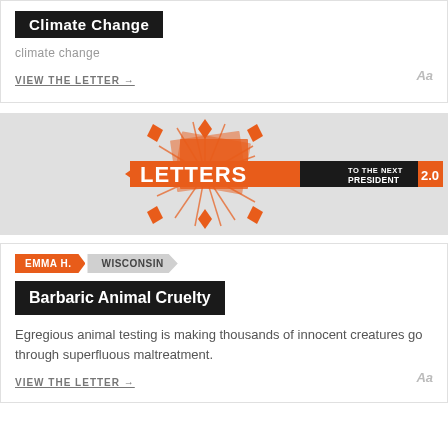[Figure (illustration): Black badge/label with white bold text reading 'Climate Change']
climate change
VIEW THE LETTER →
[Figure (logo): Letters to the Next President 2.0 logo on grey background with orange arrow/burst graphic]
EMMA H. WISCONSIN
Barbaric Animal Cruelty
Egregious animal testing is making thousands of innocent creatures go through superfluous maltreatment.
VIEW THE LETTER →